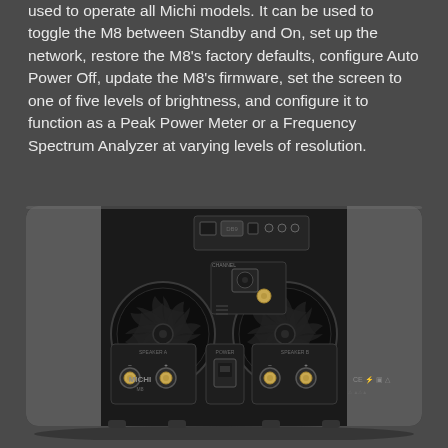used to operate all Michi models. It can be used to toggle the M8 between Standby and On, set up the network, restore the M8's factory defaults, configure Auto Power Off, update the M8's firmware, set the screen to one of five levels of brightness, and configure it to function as a Peak Power Meter or a Frequency Spectrum Analyzer at varying levels of resolution.
[Figure (photo): Rear panel view of the Michi M8 power amplifier showing two large cooling fans on left and right sides, connection panel in center with ethernet port, DB9 serial port, USB port, XLR/RCA input connectors, speaker binding posts for two channels, and CE/regulatory markings. The unit is finished in dark gray/black.]